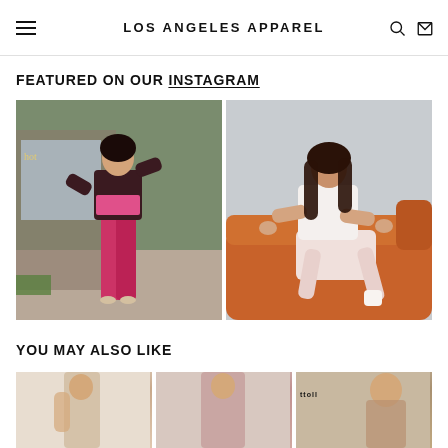LOS ANGELES APPAREL
FEATURED ON OUR INSTAGRAM
[Figure (photo): Two Instagram fashion photos side by side: left photo shows a woman wearing a dark crop top and shiny pink/red high-waist leggings standing on a street; right photo shows a woman in a white crop top and light pink shorts/leggings posing on an orange velvet couch.]
YOU MAY ALSO LIKE
[Figure (photo): Three product thumbnail images showing fashion apparel items partially visible at the bottom of the page.]